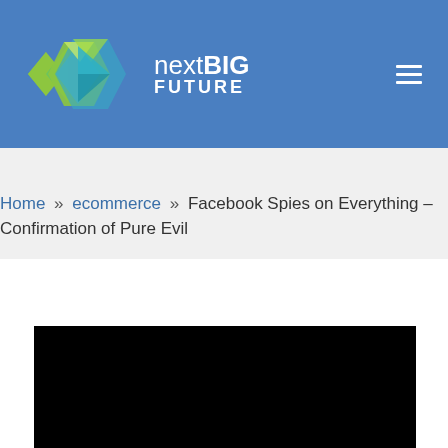nextBIG FUTURE
Home » ecommerce » Facebook Spies on Everything – Confirmation of Pure Evil
[Figure (screenshot): Black video player placeholder area]